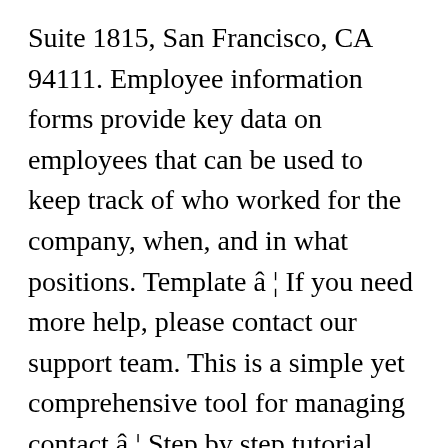Suite 1815, San Francisco, CA 94111. Employee information forms provide key data on employees that can be used to keep track of who worked for the company, when, and in what positions. Template â¦ If you need more help, please contact our support team. This is a simple yet comprehensive tool for managing contact â¦ Step by step tutorial. This is a simple yet comprehensive tool for managing contact info. This is a standard classic contact form that contains name, email and message fields. Light gradient green background makes the form simple and elegant looking. Form to Email. Simple all purpose form. A minimal and customizable snippet to throw a semantic form